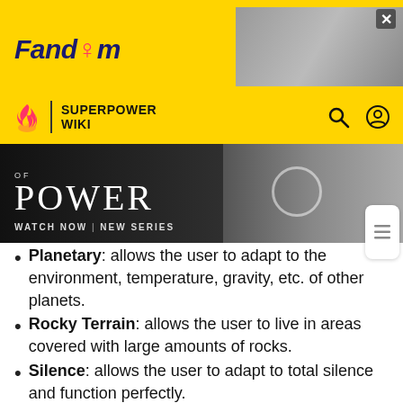[Figure (screenshot): Fandom website header with yellow background and Fandom logo]
[Figure (screenshot): Superpower Wiki navigation bar with flame icon, search and user icons on yellow background]
[Figure (photo): Promotional banner for 'Of Power' new series with dark background and figures]
Planetary: allows the user to adapt to the environment, temperature, gravity, etc. of other planets.
Rocky Terrain: allows the user to live in areas covered with large amounts of rocks.
Silence: allows the user to adapt to total silence and function perfectly.
Subterranean: allows the user to live in stuffy, low-light terrene conditions like caves/tunnels with